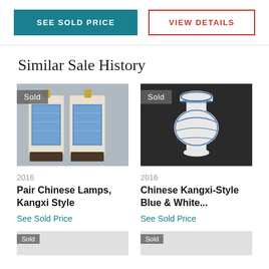SEE SOLD PRICE | VIEW DETAILS
Similar Sale History
[Figure (photo): Photo of a pair of Chinese Kangxi-style blue and white lamps on wooden stands, with a 'Sold' badge overlay]
2016
Pair Chinese Lamps, Kangxi Style
See Sold Price
[Figure (photo): Photo of a Chinese Kangxi-style blue and white vase on dark background, with a 'Sold' badge overlay]
2016
Chinese Kangxi-Style Blue & White...
See Sold Price